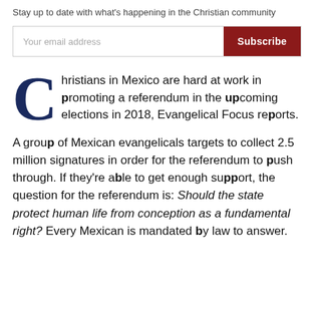Stay up to date with what's happening in the Christian community
Your email address  Subscribe
Christians in Mexico are hard at work in promoting a referendum in the upcoming elections in 2018, Evangelical Focus reports.
A group of Mexican evangelicals targets to collect 2.5 million signatures in order for the referendum to push through. If they're able to get enough support, the question for the referendum is: Should the state protect human life from conception as a fundamental right? Every Mexican is mandated by law to answer.